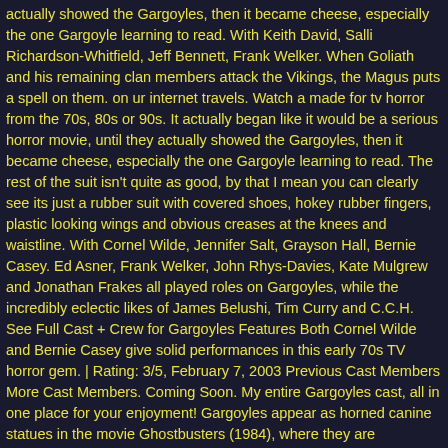actually showed the Gargoyles, then it became cheese, especially the one Gargoyle learning to read. With Keith David, Salli Richardson-Whitfield, Jeff Bennett, Frank Welker. When Goliath and his remaining clan members attack the Vikings, the Magus puts a spell on them. on ur internet travels. Watch a made for tv horror from the 70s, 80s or 90s. It actually began like it would be a serious horror movie, until they actually showed the Gargoyles, then it became cheese, especially the one Gargoyle learning to read. The rest of the suit isn't quite as good, by that I mean you can clearly see its just a rubber suit with covered shoes, hokey rubber fingers, plastic looking wings and obvious creases at the knees and waistline. With Cornel Wilde, Jennifer Salt, Grayson Hall, Bernie Casey. Ed Asner, Frank Welker, John Rhys-Davies, Kate Mulgrew and Jonathan Frakes all played roles on Gargoyles, while the incredibly eclectic likes of James Belushi, Tim Curry and C.C.H. See Full Cast + Crew for Gargoyles Features Both Cornel Wilde and Bernie Casey give solid performances in this early 70s TV horror gem. | Rating: 3/5, February 7, 2003 Previous Cast Members More Cast Members. Coming Soon. My entire Gargoyles cast, all in one place for your enjoyment! Gargoyles appear as horned canine statues in the movie Ghostbusters (1984), where they are possessed by the demonic spirits of Zuul and Vinz Klortho. Story – Gargoyles (1972) The movie begins with narration telling how Lucifer and his followers were cast out of Heaven. Please reference "Error Code 2121" when contacting customer service. Just